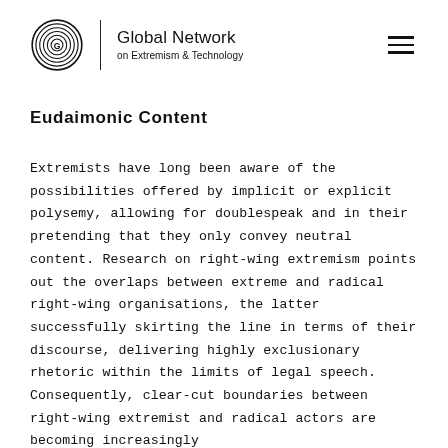Global Network on Extremism & Technology
Eudaimonic Content
Extremists have long been aware of the possibilities offered by implicit or explicit polysemy, allowing for doublespeak and in their pretending that they only convey neutral content. Research on right-wing extremism points out the overlaps between extreme and radical right-wing organisations, the latter successfully skirting the line in terms of their discourse, delivering highly exclusionary rhetoric within the limits of legal speech. Consequently, clear-cut boundaries between right-wing extremist and radical actors are becoming increasingly